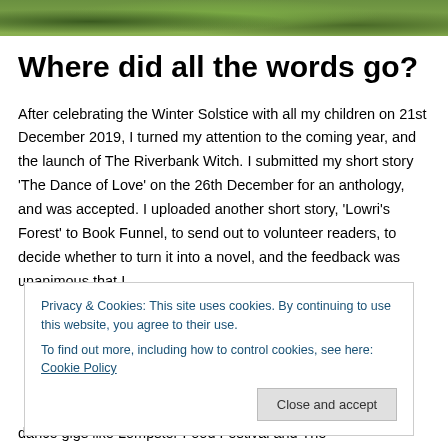[Figure (photo): Green outdoor photo strip at the top of the page showing grass or foliage]
Where did all the words go?
After celebrating the Winter Solstice with all my children on 21st December 2019, I turned my attention to the coming year, and the launch of The Riverbank Witch. I submitted my short story ‘The Dance of Love’ on the 26th December for an anthology, and was accepted. I uploaded another short story, ‘Lowri’s Forest’ to Book Funnel, to send out to volunteer readers, to decide whether to turn it into a novel, and the feedback was unanimous that I
Privacy & Cookies: This site uses cookies. By continuing to use this website, you agree to their use.
To find out more, including how to control cookies, see here: Cookie Policy
dance gigs like Lompster Food Festival and The